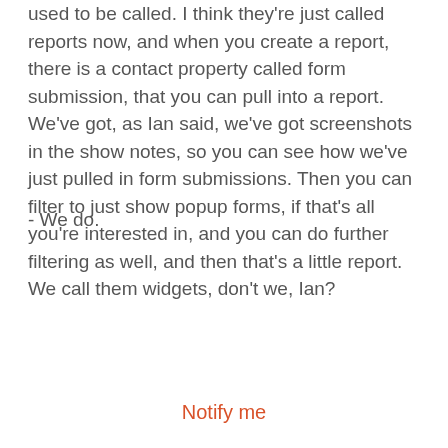used to be called. I think they're just called reports now, and when you create a report, there is a contact property called form submission, that you can pull into a report. We've got, as Ian said, we've got screenshots in the show notes, so you can see how we've just pulled in form submissions. Then you can filter to just show popup forms, if that's all you're interested in, and you can do further filtering as well, and then that's a little report. We call them widgets, don't we, Ian?
- We do.
[Figure (other): Orange popup overlay with title 'Get the full show notes when each new episode of HubShots is released', body text about Marketing Managers and Sales Professionals, and a 'Notify me' button.]